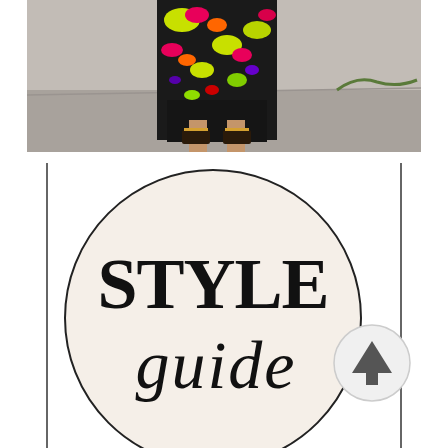[Figure (photo): A person wearing a colorful black floral maxi dress/skirt with bright neon yellow, pink, green and orange pattern, photographed from waist down, standing on a concrete sidewalk surface.]
[Figure (illustration): A circular logo on white background with thin black border. Inside the circle on a cream/off-white background, large black serif uppercase text reads 'STYLE' and below it in large black italic script font reads 'guide'. A small circular button with an upward arrow is partially overlapping the right side of the circle.]